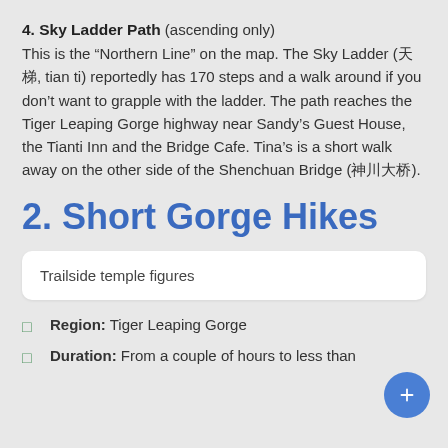4. Sky Ladder Path (ascending only) This is the “Northern Line” on the map. The Sky Ladder (天梯, tian ti) reportedly has 170 steps and a walk around if you don’t want to grapple with the ladder. The path reaches the Tiger Leaping Gorge highway near Sandy’s Guest House, the Tianti Inn and the Bridge Cafe. Tina’s is a short walk away on the other side of the Shenchuan Bridge (神川大桥).
2. Short Gorge Hikes
[Figure (photo): White rounded box with caption: Trailside temple figures]
Trailside temple figures
Region: Tiger Leaping Gorge
Duration: From a couple of hours to less than